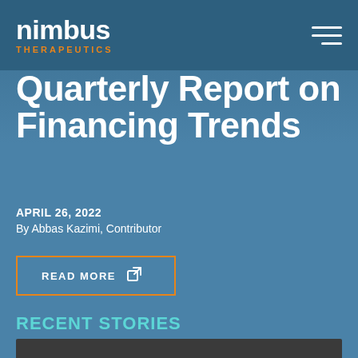nimbus THERAPEUTICS
Quarterly Report on Financing Trends
APRIL 26, 2022
By Abbas Kazimi, Contributor
READ MORE
RECENT STORIES